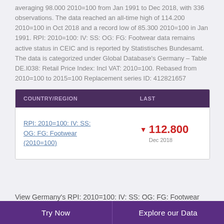averaging 98.000 2010=100 from Jan 1991 to Dec 2018, with 336 observations. The data reached an all-time high of 114.200 2010=100 in Oct 2018 and a record low of 85.300 2010=100 in Jan 1991. RPI: 2010=100: IV: SS: OG: FG: Footwear data remains active status in CEIC and is reported by Statistisches Bundesamt. The data is categorized under Global Database's Germany – Table DE.I038: Retail Price Index: Incl VAT: 2010=100. Rebased from 2010=100 to 2015=100 Replacement series ID: 412821657
| COUNTRY/REGION | LAST |
| --- | --- |
| RPI: 2010=100: IV: SS: OG: FG: Footwear (2010=100) | ▼ 112.800
Dec 2018 |
View Germany's RPI: 2010=100: IV: SS: OG: FG: Footwear
Try Now   Explore our Data